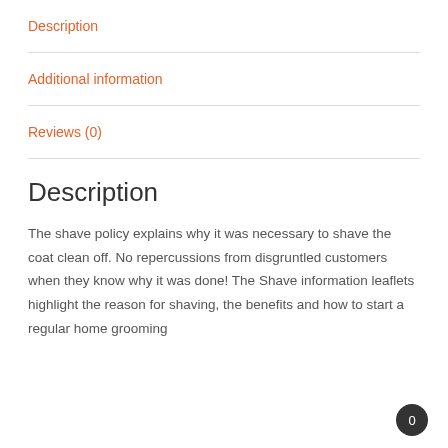Description
Additional information
Reviews (0)
Description
The shave policy explains why it was necessary to shave the coat clean off. No repercussions from disgruntled customers when they know why it was done! The Shave information leaflets highlight the reason for shaving, the benefits and how to start a regular home grooming